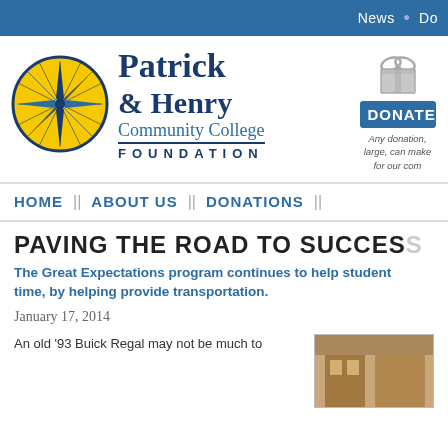News  •  Do
[Figure (logo): Patrick & Henry Community College Foundation logo with compass rose emblem in blue and yellow]
Patrick & Henry Community College FOUNDATION
[Figure (illustration): Gift/donate icon (grey ribbon bow on gift box)]
DONATE
Any donation, large, can make for our com
HOME
ABOUT US
DONATIONS
PAVING THE ROAD TO SUCCES
The Great Expectations program continues to help student time, by helping provide transportation.
January 17, 2014
An old '93 Buick Regal may not be much to
[Figure (photo): Thumbnail photo, appears to show a building or wooden structure]